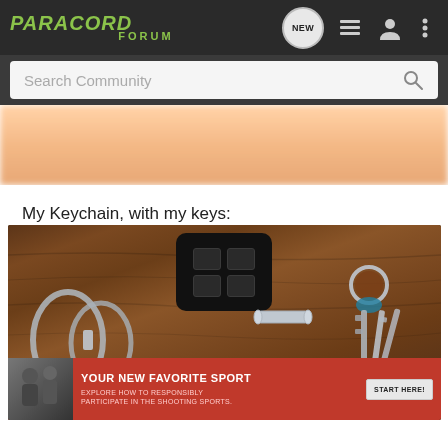PARACORD FORUM
[Figure (screenshot): Search Community bar with search icon]
[Figure (photo): Partial blurred image - skin tone background, top of post]
My Keychain, with my keys:
[Figure (photo): Photo of a keychain with multiple keys, carabiners, black key fob with buttons, metal hardware on wooden surface. Photobucket watermark visible.]
[Figure (photo): Ad banner: YOUR NEW FAVORITE SPORT - EXPLORE HOW TO RESPONSIBLY PARTICIPATE IN THE SHOOTING SPORTS. START HERE!]